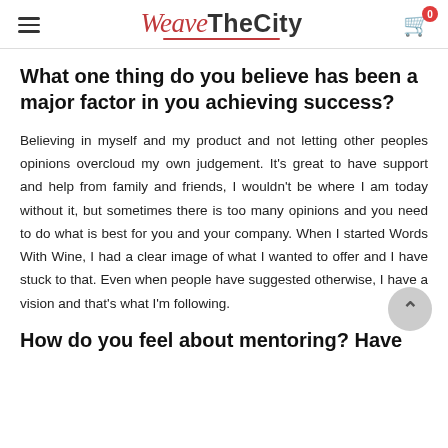WeaveTheCity
What one thing do you believe has been a major factor in you achieving success?
Believing in myself and my product and not letting other peoples opinions overcloud my own judgement. It's great to have support and help from family and friends, I wouldn't be where I am today without it, but sometimes there is too many opinions and you need to do what is best for you and your company. When I started Words With Wine, I had a clear image of what I wanted to offer and I have stuck to that. Even when people have suggested otherwise, I have a vision and that's what I'm following.
How do you feel about mentoring? Have